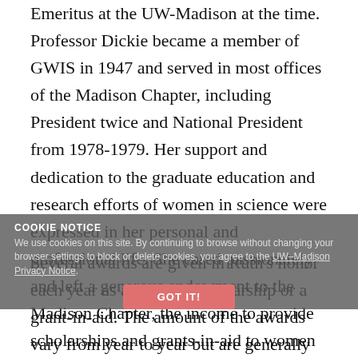Emeritus at the UW-Madison at the time. Professor Dickie became a member of GWIS in 1947 and served in most offices of the Madison Chapter, including President twice and National President from 1978-1979. Her support and dedication to the graduate education and research efforts of women in science were expressed in her personal and professional life. She cared passionately and left a generous endowment to the Madison Chapter, the income to provide scholarships and grants-in-aid to women in science.
Several awards are given in Ruth's honor each year as a research scholarship or a grant-in-aid. The amount of the awards vary from year to year but are generally $500 to $3000. Grants-in-aid are always $500.